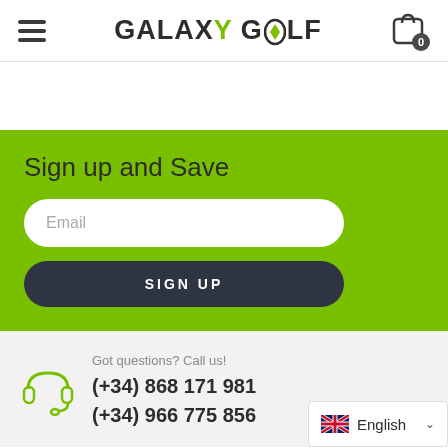Galaxy Golf — navigation header with hamburger menu and cart
Sign up and Save
Email
SIGN UP
Got questions? Call us!
(+34) 868 171 981
(+34) 966 775 856
English